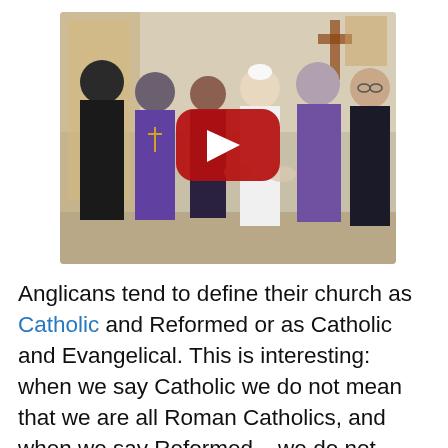[Figure (screenshot): A YouTube video thumbnail showing a group of religious figures including the Pope in white robes and Anglican bishops in purple robes, gathered indoors, with a large red YouTube play button overlay in the center.]
Anglicans tend to define their church as Catholic and Reformed or as Catholic and Evangelical. This is interesting: when we say Catholic we do not mean that we are all Roman Catholics, and when we say Reformed – we do not necessarily mean that we are all Calvinists. Anglicanism or Anglicanism is the name for a set of persons,